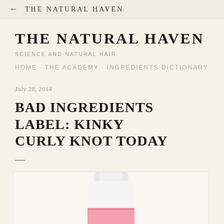THE NATURAL HAVEN
THE NATURAL HAVEN
SCIENCE AND NATURAL HAIR
HOME · THE ACADEMY · INGREDIENTS DICTIONARY
July 28, 2014
BAD INGREDIENTS LABEL: KINKY CURLY KNOT TODAY
[Figure (photo): A white bottle of Kinky Curly Knot Today hair product with a pink label, partially visible at the bottom of the page.]